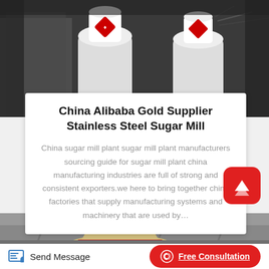[Figure (photo): Industrial sugar mill machines (white cylindrical equipment) in a warehouse/factory setting, photographed from a slightly low angle. Multiple white machines visible.]
China Alibaba Gold Supplier Stainless Steel Sugar Mill
China sugar mill plant sugar mill plant manufacturers sourcing guide for sugar mill plant china manufacturing industries are full of strong and consistent exporters.we here to bring together china factories that supply manufacturing systems and machinery that are used by…
[Figure (photo): Industrial factory interior showing a beige/cream colored cone-shaped mill machine with a red band, metal framework and roof structure visible in background.]
Send Message
Free Consultation